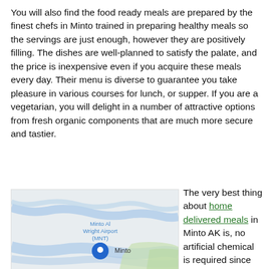You will also find the food ready meals are prepared by the finest chefs in Minto trained in preparing healthy meals so the servings are just enough, however they are positively filling. The dishes are well-planned to satisfy the palate, and the price is inexpensive even if you acquire these meals every day. Their menu is diverse to guarantee you take pleasure in various courses for lunch, or supper. If you are a vegetarian, you will delight in a number of attractive options from fresh organic components that are much more secure and tastier.
[Figure (map): Google Maps view showing Minto Al Wright Airport (MNT) with a blue location pin and the label 'Minto'. The map shows rivers and terrain in light blue and green tones.]
The very best thing about home delivered meals in Minto AK is, no artificial chemical is required since the food is newly prepared and all